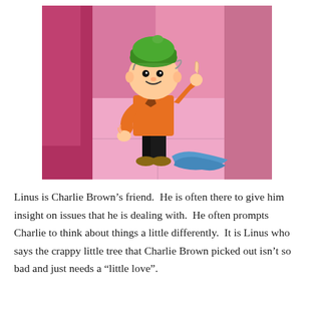[Figure (illustration): Animated cartoon illustration of Linus van Pelt from Peanuts, wearing an orange jacket and green beanie hat, standing on a pink stage with his blue blanket on the floor beside him, pointing upward with one finger.]
Linus is Charlie Brown's friend.  He is often there to give him insight on issues that he is dealing with.  He often prompts Charlie to think about things a little differently.  It is Linus who says the crappy little tree that Charlie Brown picked out isn't so bad and just needs a “little love”.